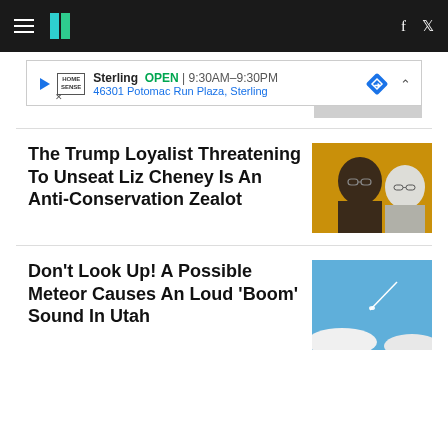HuffPost navigation with hamburger menu, logo, Facebook and Twitter icons
[Figure (screenshot): Advertisement banner for HomeSense Sterling store showing OPEN 9:30AM-9:30PM, 46301 Potomac Run Plaza, Sterling with navigation diamond icon]
The Trump Loyalist Threatening To Unseat Liz Cheney Is An Anti-Conservation Zealot
[Figure (photo): Two people on orange/gold background - a man with glasses in foreground and a woman with glasses in background]
Don't Look Up! A Possible Meteor Causes An Loud 'Boom' Sound In Utah
[Figure (photo): Blue sky with white clouds and a streak of light suggesting a meteor or aircraft contrail]